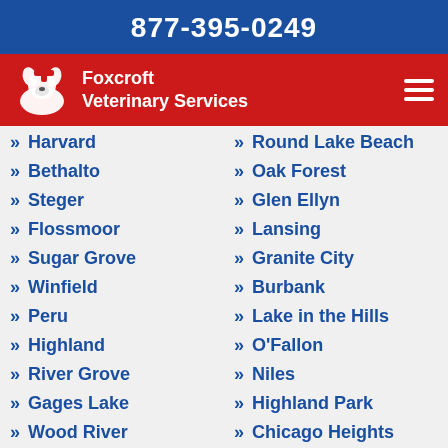877-395-0249
Foxcroft Veterinary Services
Harvard
Bethalto
Steger
Flossmoor
Sugar Grove
Winfield
Peru
Highland
River Grove
Gages Lake
Wood River
Boulder Hill
Barrington
Round Lake Beach
Oak Forest
Glen Ellyn
Lansing
Granite City
Burbank
Lake in the Hills
O'Fallon
Niles
Highland Park
Chicago Heights
North Chicago
Gurnee